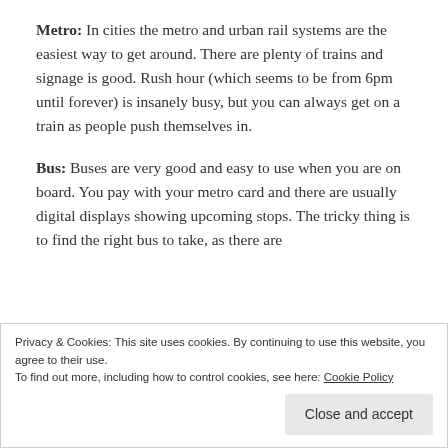Metro: In cities the metro and urban rail systems are the easiest way to get around. There are plenty of trains and signage is good. Rush hour (which seems to be from 6pm until forever) is insanely busy, but you can always get on a train as people push themselves in.
Bus: Buses are very good and easy to use when you are on board. You pay with your metro card and there are usually digital displays showing upcoming stops. The tricky thing is to find the right bus to take, as there are
Privacy & Cookies: This site uses cookies. By continuing to use this website, you agree to their use.
To find out more, including how to control cookies, see here: Cookie Policy